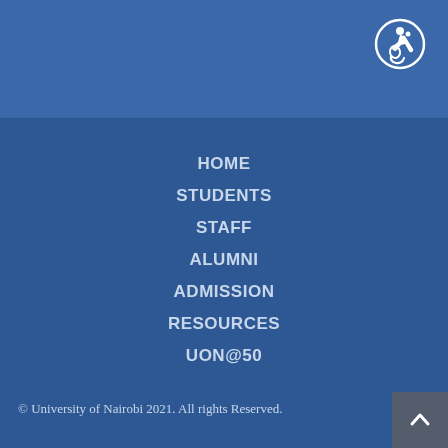[Figure (logo): Accessibility icon - wheelchair user in a circle, white on blue background, top right corner]
HOME
STUDENTS
STAFF
ALUMNI
ADMISSION
RESOURCES
UON@50
© University of Nairobi 2021.  All rights Reserved.